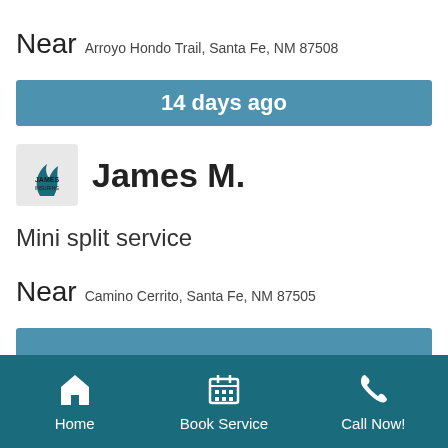Near Arroyo Hondo Trail, Santa Fe, NM 87508
14 days ago
[Figure (logo): James Insurance company logo]
James M.
Mini split service
Near Camino Cerrito, Santa Fe, NM 87505
Home  Book Service  Call Now!